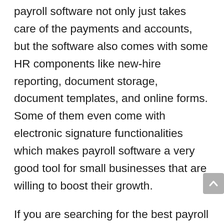payroll software not only just takes care of the payments and accounts, but the software also comes with some HR components like new-hire reporting, document storage, document templates, and online forms. Some of them even come with electronic signature functionalities which makes payroll software a very good tool for small businesses that are willing to boost their growth.
If you are searching for the best payroll software to reduce the workload and make the payday so much painless as it can be